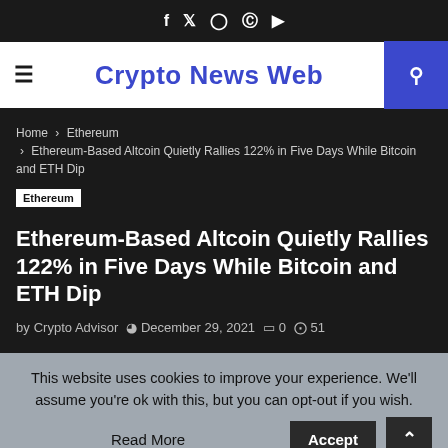f  ✦  ❑  ⊕  ▶
Crypto News Web
Home › Ethereum › Ethereum-Based Altcoin Quietly Rallies 122% in Five Days While Bitcoin and ETH Dip
Ethereum
Ethereum-Based Altcoin Quietly Rallies 122% in Five Days While Bitcoin and ETH Dip
by Crypto Advisor  ⊙ December 29, 2021  ❑ 0  ● 51
This website uses cookies to improve your experience. We'll assume you're ok with this, but you can opt-out if you wish.
Accept
Read More